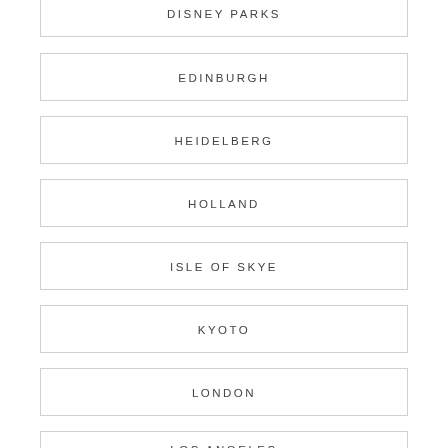DISNEY PARKS
EDINBURGH
HEIDELBERG
HOLLAND
ISLE OF SKYE
KYOTO
LONDON
LOS ANGELES
MACKINAC ISLAND